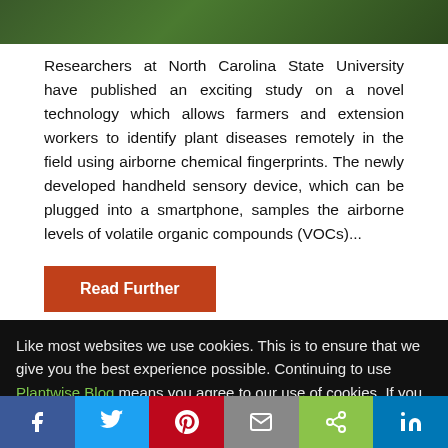[Figure (photo): Dark green plant background image at top of page]
Researchers at North Carolina State University have published an exciting study on a novel technology which allows farmers and extension workers to identify plant diseases remotely in the field using airborne chemical fingerprints. The newly developed handheld sensory device, which can be plugged into a smartphone, samples the airborne levels of volatile organic compounds (VOCs)...
Read Further
Like most websites we use cookies. This is to ensure that we give you the best experience possible. Continuing to use Plantwise Blog means you agree to our use of cookies. If you would like to, you can learn more about the cookies we use here.
Social share bar: Facebook, Twitter, Pinterest, Email, Share, LinkedIn